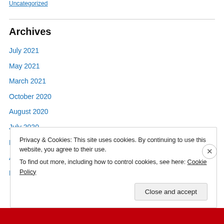Uncategorized
Archives
July 2021
May 2021
March 2021
October 2020
August 2020
July 2020
May 2020
April 2020
March 2020
Privacy & Cookies: This site uses cookies. By continuing to use this website, you agree to their use.
To find out more, including how to control cookies, see here: Cookie Policy
Close and accept